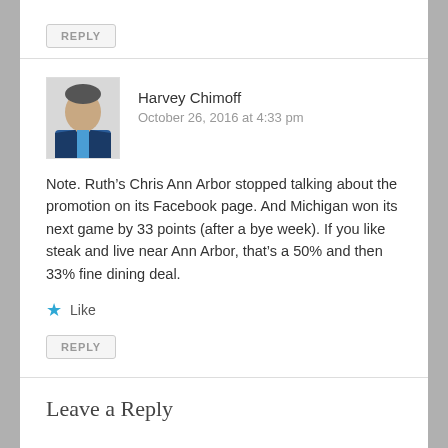REPLY
Harvey Chimoff
October 26, 2016 at 4:33 pm
Note. Ruth’s Chris Ann Arbor stopped talking about the promotion on its Facebook page. And Michigan won its next game by 33 points (after a bye week). If you like steak and live near Ann Arbor, that’s a 50% and then 33% fine dining deal.
★ Like
REPLY
Leave a Reply